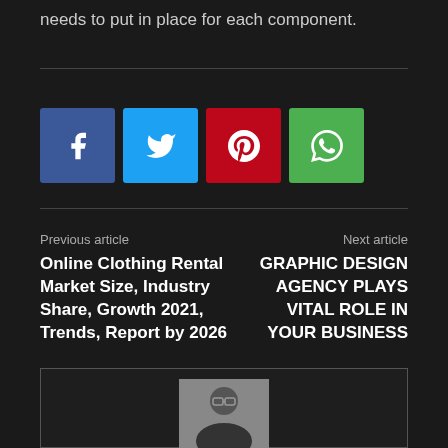needs to put in place for each component.
[Figure (infographic): Social share buttons: Facebook (blue), Twitter (cyan), Pinterest (red), WhatsApp (green)]
Previous article
Online Clothing Rental Market Size, Industry Share, Growth 2021, Trends, Report by 2026
Next article
GRAPHIC DESIGN AGENCY PLAYS VITAL ROLE IN YOUR BUSINESS
[Figure (photo): Author photo: man with glasses wearing black turtleneck]